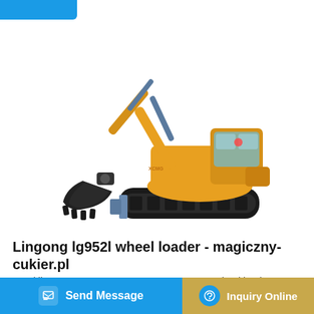[Figure (photo): Yellow mini excavator / compact crawler excavator with extended arm and bucket, white background]
Lingong lg952l wheel loader - magiczny-cukier.pl
Used lingong SDLG LG933L LG956L LG956F wheel loader ... t loac ... gh-end...